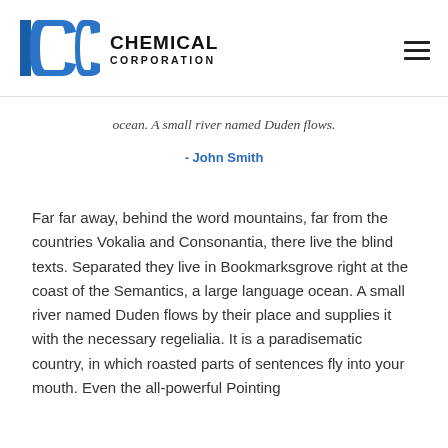[Figure (logo): ICC Chemical Corporation logo with blue ICC letters and company name in bold black text]
ocean. A small river named Duden flows.
- John Smith
Far far away, behind the word mountains, far from the countries Vokalia and Consonantia, there live the blind texts. Separated they live in Bookmarksgrove right at the coast of the Semantics, a large language ocean. A small river named Duden flows by their place and supplies it with the necessary regelialia. It is a paradisematic country, in which roasted parts of sentences fly into your mouth. Even the all-powerful Pointing